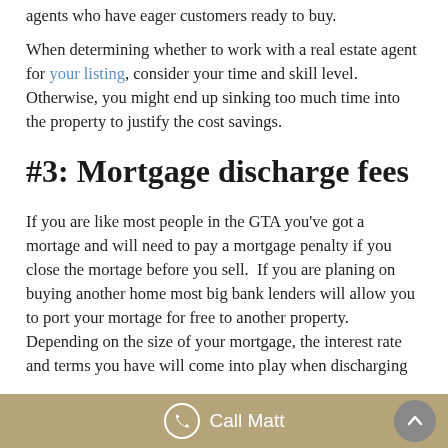agents who have eager customers ready to buy.
When determining whether to work with a real estate agent for your listing, consider your time and skill level. Otherwise, you might end up sinking too much time into the property to justify the cost savings.
#3: Mortgage discharge fees
If you are like most people in the GTA you've got a mortage and will need to pay a mortgage penalty if you close the mortage before you sell.  If you are planing on buying another home most big bank lenders will allow you to port your mortage for free to another property.  Depending on the size of your mortgage, the interest rate and terms you have will come into play when discharging
Call Matt